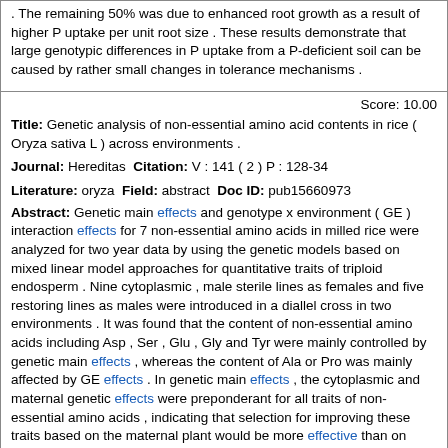. The remaining 50% was due to enhanced root growth as a result of higher P uptake per unit root size . These results demonstrate that large genotypic differences in P uptake from a P-deficient soil can be caused by rather small changes in tolerance mechanisms .
Score: 10.00
Title: Genetic analysis of non-essential amino acid contents in rice ( Oryza sativa L ) across environments .
Journal: Hereditas Citation: V : 141 ( 2 ) P : 128-34
Literature: oryza Field: abstract Doc ID: pub15660973
Abstract: Genetic main effects and genotype x environment ( GE ) interaction effects for 7 non-essential amino acids in milled rice were analyzed for two year data by using the genetic models based on mixed linear model approaches for quantitative traits of triploid endosperm . Nine cytoplasmic , male sterile lines as females and five restoring lines as males were introduced in a diallel cross in two environments . It was found that the content of non-essential amino acids including Asp , Ser , Glu , Gly and Tyr were mainly controlled by genetic main effects , whereas the content of Ala or Pro was mainly affected by GE effects . In genetic main effects , the cytoplasmic and maternal genetic effects were preponderant for all traits of non-essential amino acids , indicating that selection for improving these traits based on the maternal plant would be more effective than on seeds . The total narrow-sense heritabilities for non-essential amino acids were 70 . 9-85 . 9% . By predicating the genetic effects of parents , the total genetic effects from Xieqingzao , V20 , Zuo 5 and Zhenshan 97 were mainly negative and these parents would decrease the content of most essential amino acids . Since parents of Zhenan 3 , Yinchao 1 , T49 , 26715 , 102 and 1391 had possessed a positive value of most total genetic effects , these parents could be chosen as optimal parents for increasing the content of most